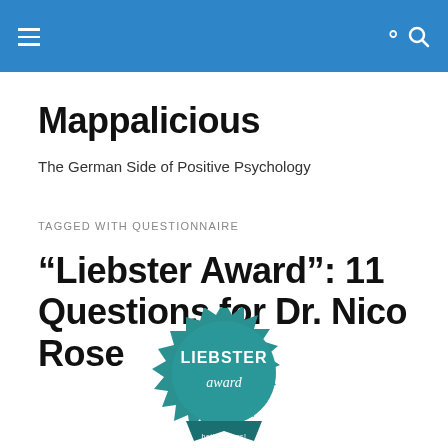Mappalicious
The German Side of Positive Psychology
TAGGED WITH QUESTIONNAIRE
“Liebster Award”: 11 Questions for Dr. Nico Rose
[Figure (illustration): Liebster Award badge — a teal/dark-cyan circular seal with spiky border, text reads LIEBSTER award, and a ribbon at the bottom.]